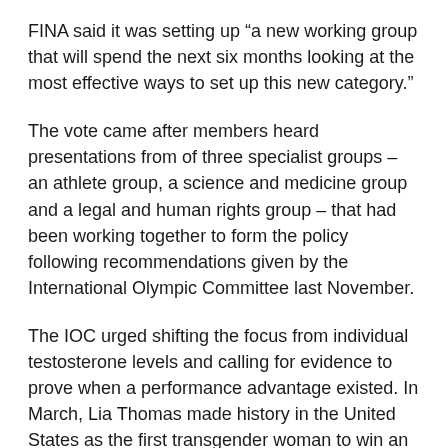FINA said it was setting up “a new working group that will spend the next six months looking at the most effective ways to set up this new category.”
The vote came after members heard presentations from of three specialist groups – an athlete group, a science and medicine group and a legal and human rights group – that had been working together to form the policy following recommendations given by the International Olympic Committee last November.
The IOC urged shifting the focus from individual testosterone levels and calling for evidence to prove when a performance advantage existed. In March, Lia Thomas made history in the United States as the first transgender woman to win an NCAA swimming championship. She won the 500-yard freestyle.